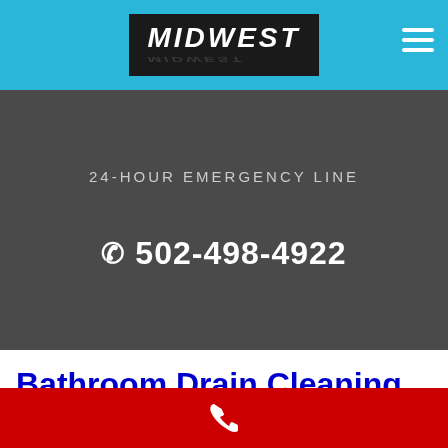[Figure (logo): Midwest logo in black box with white italic bold text, cyan navigation bar with hamburger menu icon on right]
24-HOUR EMERGENCY LINE
✆ 502-498-4922
Bathroom Drain Cleaning Services Fort Payne Alabama
[Figure (other): Red footer bar with white phone handset icon]